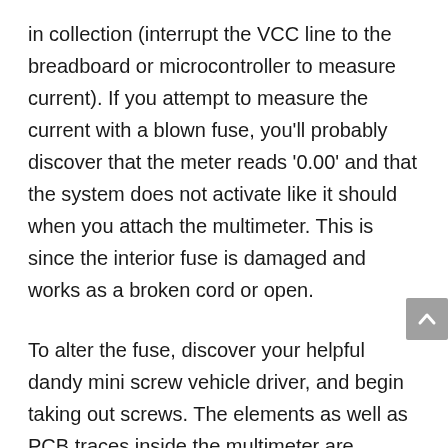in collection (interrupt the VCC line to the breadboard or microcontroller to measure current). If you attempt to measure the current with a blown fuse, you'll probably discover that the meter reads '0.00' and that the system does not activate like it should when you attach the multimeter. This is since the interior fuse is damaged and works as a broken cord or open.
To alter the fuse, discover your helpful dandy mini screw vehicle driver, and begin taking out screws. The elements as well as PCB traces inside the multimeter are designed to take different quantities of current. You will certainly harm as well as possibly spoil your multimeter if you inadvertently press 5A with the 200mA port.